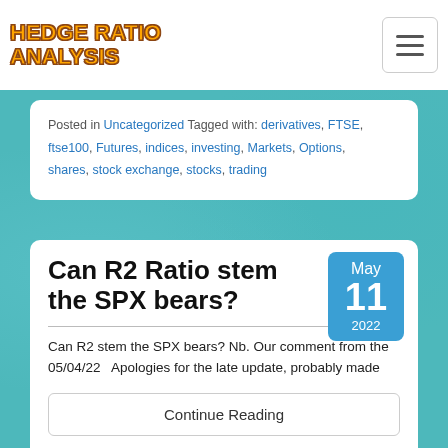HEDGE RATIO ANALYSIS
Posted in Uncategorized Tagged with: derivatives, FTSE, ftse100, Futures, indices, investing, Markets, Options, shares, stock exchange, stocks, trading
Can R2 Ratio stem the SPX bears?
Can R2 stem the SPX bears? Nb. Our comment from the 05/04/22   Apologies for the late update, probably made
Continue Reading
Posted in Uncategorized Tagged with: derivatives, Futures,